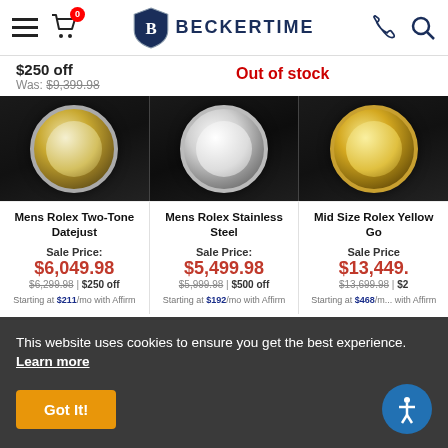BeckerTime — navigation header with hamburger menu, cart (0), logo, phone icon, search icon
$250 off
Was: $9,399.98
Out of stock
[Figure (photo): Three Rolex watches shown partially cropped from above — Two-Tone Datejust (gold/steel), Stainless Steel, and Mid Size Yellow Gold]
Mens Rolex Two-Tone Datejust
Sale Price:
$6,049.98
$6,299.98 | $250 off
Starting at $211/mo with Affirm
Mens Rolex Stainless Steel
Sale Price:
$5,499.98
$5,999.98 | $500 off
Starting at $192/mo with Affirm
Mid Size Rolex Yellow Go...
Sale Price:
$13,449...
$13,699.98 | $2...
Starting at $468/m... with Affirm
This website uses cookies to ensure you get the best experience. Learn more
Got It!